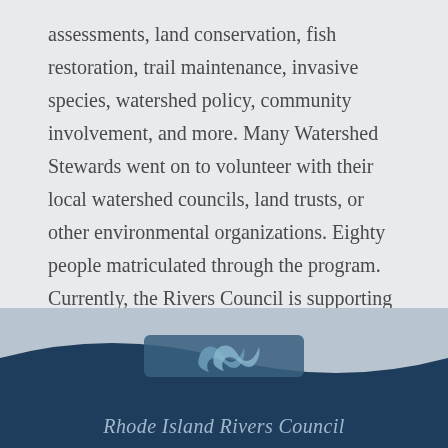assessments, land conservation, fish restoration, trail maintenance, invasive species, watershed policy, community involvement, and more. Many Watershed Stewards went on to volunteer with their local watershed councils, land trusts, or other environmental organizations. Eighty people matriculated through the program. Currently, the Rivers Council is supporting the Watershed Science for Educators course being offered at the URI Bay Campus by the Wood-Pawcatuck Watershed Association and the Narrow River Preservation Association
Rhode Island Rivers Council